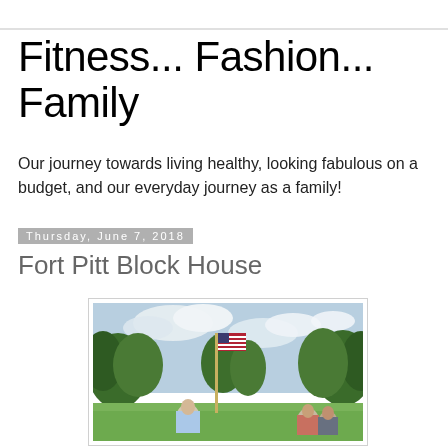Fitness... Fashion... Family
Our journey towards living healthy, looking fabulous on a budget, and our everyday journey as a family!
Thursday, June 7, 2018
Fort Pitt Block House
[Figure (photo): Outdoor photo of a group of people standing near a flagpole with an American flag, surrounded by green trees under a partly cloudy sky.]